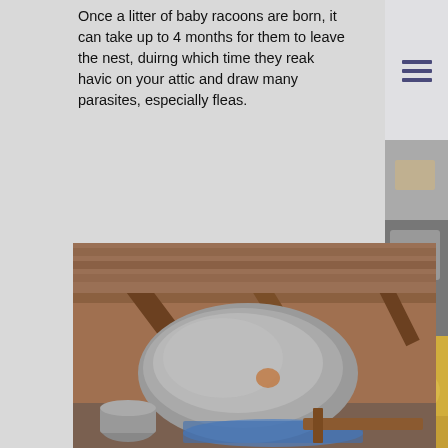Once a litter of baby racoons are born, it can take up to 4 months for them to leave the nest, duirng which time they reak havic on your attic and draw many parasites, especially fleas.
[Figure (photo): Hamburger/menu icon in a light box in the top-right sidebar]
[Figure (photo): Partial photo of an attic or animal-related scene on the right sidebar top]
Black S
Snakes voids in follow p
[Figure (photo): Photo of a large raccoon nest made of gray fibrous material inside an attic with wooden rafters, a metal bucket and blue tarp visible below]
[Figure (photo): Partial photo of yellow insulation material in bottom-right sidebar]